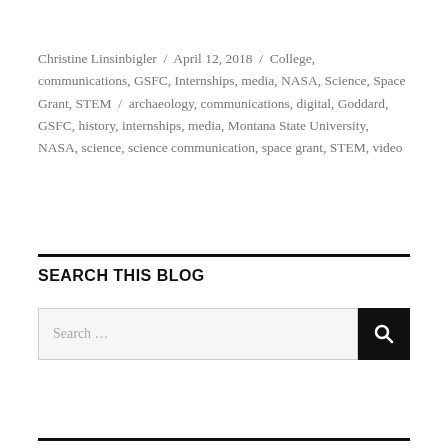Christine Linsinbigler / April 12, 2018 / College, communications, GSFC, Internships, media, NASA, Science, Space Grant, STEM / archaeology, communications, digital, Goddard, GSFC, history, internships, media, Montana State University, NASA, science, science communication, space grant, STEM, video
SEARCH THIS BLOG